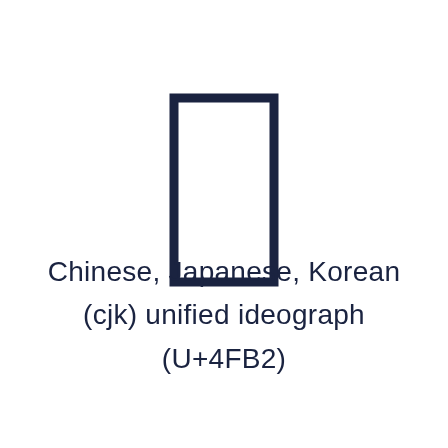[Figure (illustration): A large CJK unified ideograph character U+4FB2 rendered as a dark navy outline rectangle/glyph on white background]
Chinese, Japanese, Korean (cjk) unified ideograph (U+4FB2)